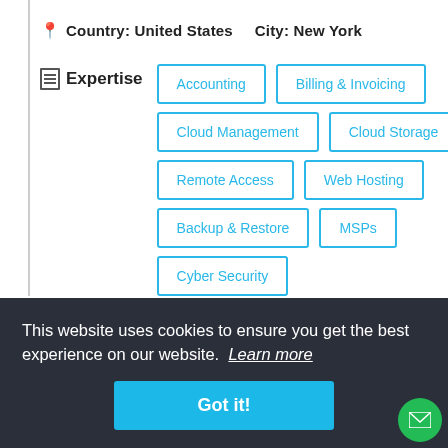Country: United States   City: New York
Expertise
Accounting
Billing & Invoicing
Cloud Management
Cloud Storage
Remote Access
Web Hosting
Backup & Restore
MSPs
Cyber Security
View Profile
This website uses cookies to ensure you get the best experience on our website. Learn more
Got it!